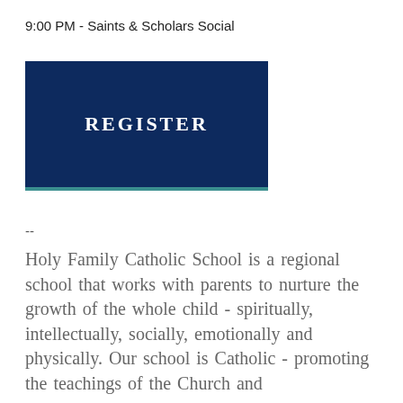9:00 PM - Saints & Scholars Social
[Figure (other): Dark navy blue button with white text reading REGISTER, with a teal bottom border]
--
Holy Family Catholic School is a regional school that works with parents to nurture the growth of the whole child - spiritually, intellectually, socially, emotionally and physically. Our school is Catholic - promoting the teachings of the Church and